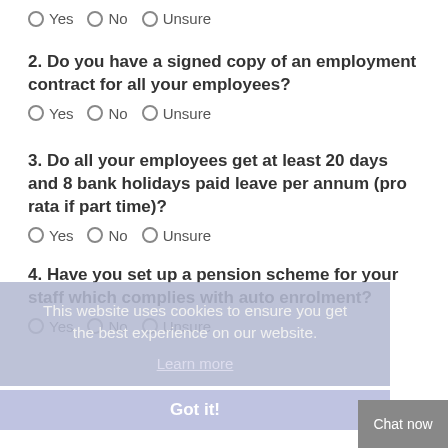Yes  No  Unsure (radio options)
2. Do you have a signed copy of an employment contract for all your employees?
Yes  No  Unsure (radio options)
3. Do all your employees get at least 20 days and 8 bank holidays paid leave per annum (pro rata if part time)?
Yes  No  Unsure (radio options)
4. Have you set up a pension scheme for your staff which complies with auto enrolment?
Yes  No  Unsure (radio options)
This website uses cookies to ensure you get the best experience on our website.
Learn more
Got it!
Chat now